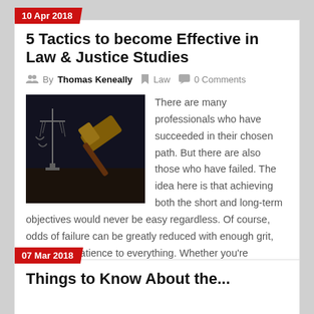10 Apr 2018
5 Tactics to become Effective in Law & Justice Studies
By Thomas Keneally  Law  0 Comments
[Figure (photo): A dark photo showing a scales of justice and a judge's gavel on a wooden surface]
There are many professionals who have succeeded in their chosen path. But there are also those who have failed. The idea here is that achieving both the short and long-term objectives would never be easy regardless. Of course, odds of failure can be greatly reduced with enough grit, effort, and patience to everything. Whether you're
Read More
07 Mar 2018
Things to Know About the...